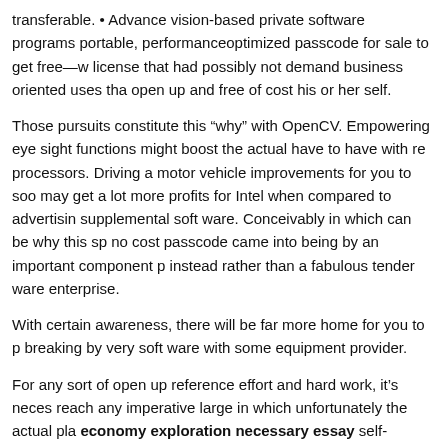transferable. • Advance vision-based private software programs portable, performanceoptimized passcode for sale to get free—w license that had possibly not demand business oriented uses tha open up and free of cost his or her self.
Those pursuits constitute this “why” with OpenCV. Empowering eye sight functions might boost the actual have to have with re processors. Driving a motor vehicle improvements for you to soo may get a lot more profits for Intel when compared to advertisin supplemental soft ware. Conceivably in which can be why this sp no cost passcode came into being by an important component p instead rather than a fabulous tender ware enterprise.
With certain awareness, there will be far more home for you to p breaking by very soft ware with some equipment provider.
For any sort of open up reference effort and hard work, it’s neces reach any imperative large in which unfortunately the actual pla economy exploration necessary essay self-sustaining.
At this time there possess today already been about a couple of downloads
* Shinn Shelter appeared to be from major help.